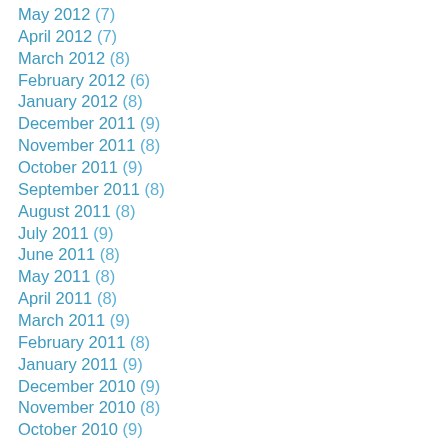May 2012 (7)
April 2012 (7)
March 2012 (8)
February 2012 (6)
January 2012 (8)
December 2011 (9)
November 2011 (8)
October 2011 (9)
September 2011 (8)
August 2011 (8)
July 2011 (9)
June 2011 (8)
May 2011 (8)
April 2011 (8)
March 2011 (9)
February 2011 (8)
January 2011 (9)
December 2010 (9)
November 2010 (8)
October 2010 (9)